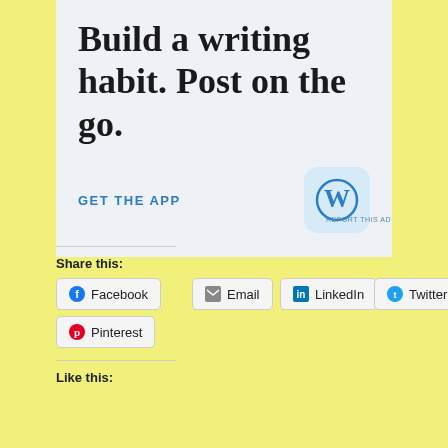[Figure (illustration): WordPress app advertisement with text 'Build a writing habit. Post on the go.' and a 'GET THE APP' link with WordPress logo icon]
REPORT THIS AD
Share this:
Facebook
Email
LinkedIn
Twitter
Pinterest
Like this: